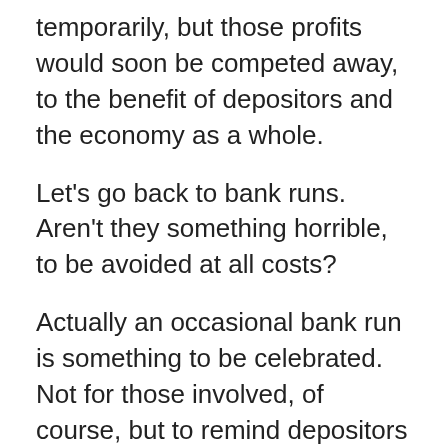temporarily, but those profits would soon be competed away, to the benefit of depositors and the economy as a whole.
Let's go back to bank runs. Aren't they something horrible, to be avoided at all costs?
Actually an occasional bank run is something to be celebrated. Not for those involved, of course, but to remind depositors and bank managers alike that they need to be careful. The same is true of the recent Radio Shack bankruptcy. Bad news for stockholders, suppliers and employees but an opportunity for competitors to learn from this bankruptcy.